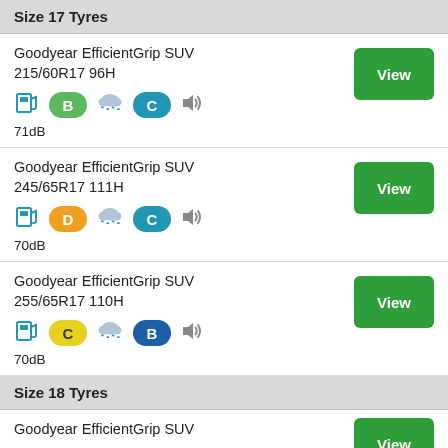Size 17 Tyres
Goodyear EfficientGrip SUV 215/60R17 96H
Fuel: B | Wet: C | 71dB
Goodyear EfficientGrip SUV 245/65R17 111H
Fuel: D | Wet: C | 70dB
Goodyear EfficientGrip SUV 255/65R17 110H
Fuel: C | Wet: B | 70dB
Size 18 Tyres
Goodyear EfficientGrip SUV